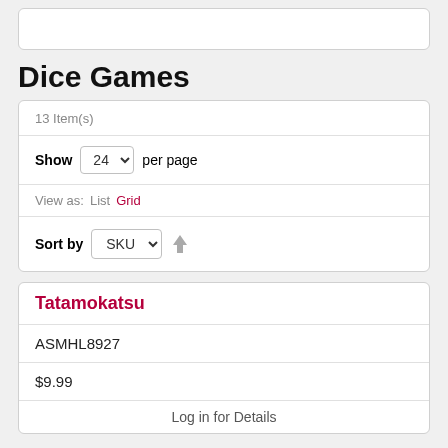Dice Games
13 Item(s)
Show 24 per page
View as: List Grid
Sort by SKU
Tatamokatsu
ASMHL8927
$9.99
Log in for Details